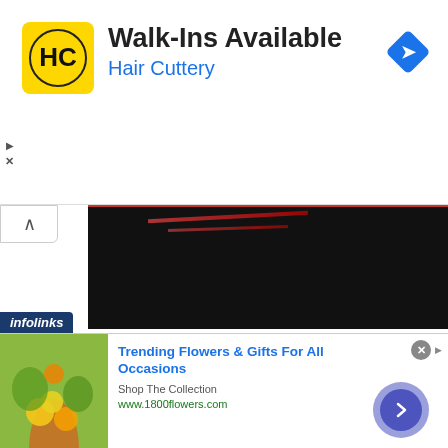[Figure (screenshot): Hair Cuttery advertisement banner with yellow HC logo, 'Walk-Ins Available' headline, 'Hair Cuttery' subheading in blue, and a blue navigation diamond icon]
[Figure (screenshot): Social media feed showing a dark sports video thumbnail, comment and heart icons, and a Sports Pulse tweet card with Twitter bird icon, handle @... Aug 9, and tweet text 'NEW PODCAST EPISODE: Tune in to The Bad Hombres FC Podcast nd listen to']
[Figure (screenshot): Bottom advertisement for 1800flowers.com: Trending Flowers & Gifts For All Occasions, Shop The Collection, www.1800flowers.com, with woman holding flowers photo, close X button, and blue arrow circle button. Infolinks label in bottom left.]